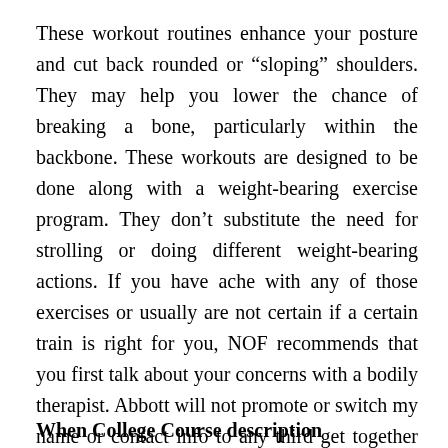These workout routines enhance your posture and cut back rounded or “sloping” shoulders. They may help you lower the chance of breaking a bone, particularly within the backbone. These workouts are designed to be done along with a weight-bearing exercise program. They don’t substitute the need for strolling or doing different weight-bearing actions. If you have ache with any of those exercises or usually are not certain if a certain train is right for you, NOF recommends that you first talk about your concerns with a bodily therapist. Abbott will not promote or switch my name or contact info to any third get together for his or her advertising use.
When College Course description